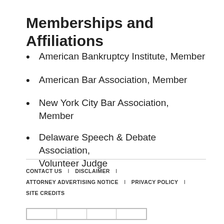Memberships and Affiliations
American Bankruptcy Institute, Member
American Bar Association, Member
New York City Bar Association, Member
Delaware Speech & Debate Association, Volunteer Judge
CONTACT US  |  DISCLAIMER  |  ATTORNEY ADVERTISING NOTICE  |  PRIVACY POLICY  |  SITE CREDITS